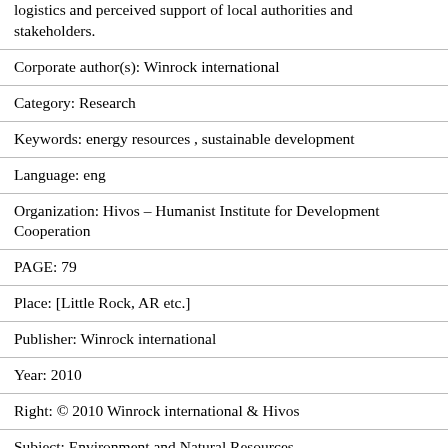logistics and perceived support of local authorities and stakeholders.
Corporate author(s): Winrock international
Category: Research
Keywords: energy resources , sustainable development
Language: eng
Organization: Hivos – Humanist Institute for Development Cooperation
PAGE: 79
Place: [Little Rock, AR etc.]
Publisher: Winrock international
Year: 2010
Right: © 2010 Winrock international & Hivos
Subject: Environment and Natural Resources